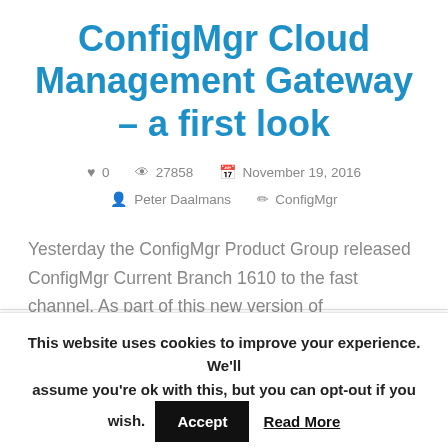ConfigMgr Cloud Management Gateway – a first look
♥ 0  👁 27858  📅 November 19, 2016  👤 Peter Daalmans  ✏ ConfigMgr
Yesterday the ConfigMgr Product Group released ConfigMgr Current Branch 1610 to the fast channel. As part of this new version of
This website uses cookies to improve your experience. We'll assume you're ok with this, but you can opt-out if you wish.  Accept  Read More